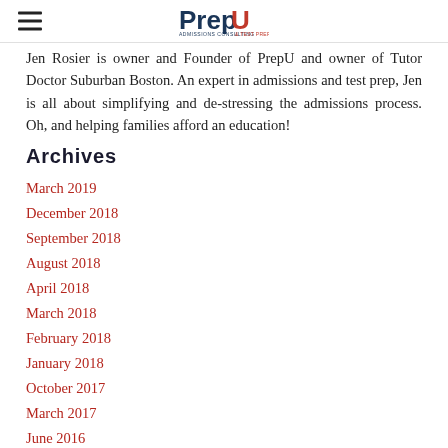PrepU
Jen Rosier is owner and Founder of PrepU and owner of Tutor Doctor Suburban Boston. An expert in admissions and test prep, Jen is all about simplifying and de-stressing the admissions process. Oh, and helping families afford an education!
Archives
March 2019
December 2018
September 2018
August 2018
April 2018
March 2018
February 2018
January 2018
October 2017
March 2017
June 2016